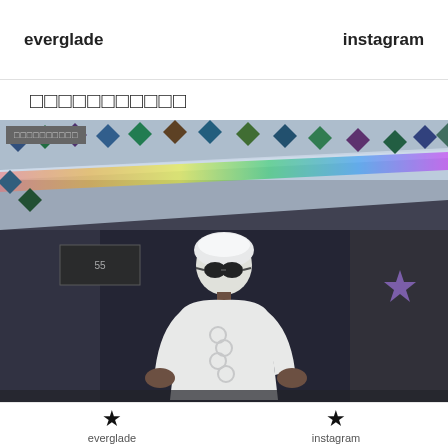everglade    instagram
□□□□□□□□□□□
[Figure (photo): Photo of a person wearing white outfit and sunglasses standing in front of a building with colorful diamond-shaped decorations along the roofline. The image has a film/vintage quality.]
★ everglade    ★ instagram